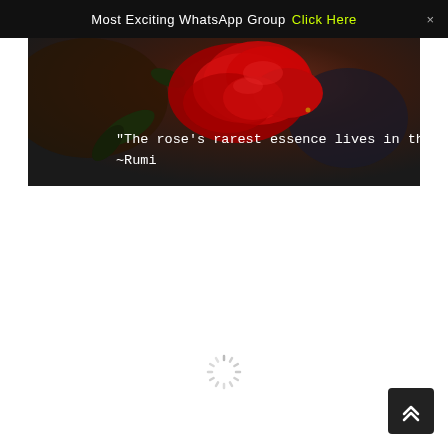Most Exciting WhatsApp Group  Click Here  ×
[Figure (photo): Dark background photo of a red rose with a quote overlay: "The rose's rarest essence lives in the thorns." ~Rumi]
[Figure (other): Loading spinner (animated dashed circle)]
[Figure (other): Scroll-to-top button with double chevron up arrow, dark background, bottom right corner]